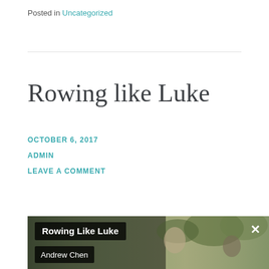Posted in Uncategorized
Rowing like Luke
OCTOBER 6, 2017
ADMIN
LEAVE A COMMENT
[Figure (photo): Video thumbnail showing young men rowing outdoors, with overlay text 'Rowing Like Luke' and 'Andrew Chen' and a close button X]